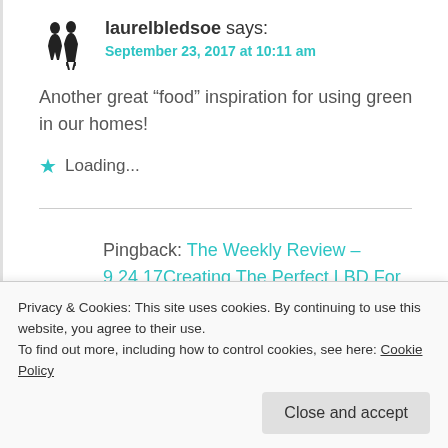laurelbledsoe says:
September 23, 2017 at 10:11 am
Another great “food” inspiration for using green in our homes!
Loading...
Pingback: The Weekly Review – 9.24.17Creating The Perfect LBD For Your
Privacy & Cookies: This site uses cookies. By continuing to use this website, you agree to their use. To find out more, including how to control cookies, see here: Cookie Policy
Close and accept
Comments are closed.